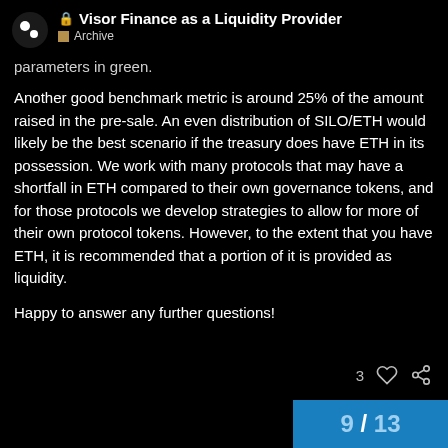🔒 Visor Finance as a Liquidity Provider — Archive
parameters in green.
Another good benchmark metric is around 25% of the amount raised in the pre-sale. An even distribution of SILO/ETH would likely be the best scenario if the treasury does have ETH in its possession. We work with many protocols that may have a shortfall in ETH compared to their own governance tokens, and for those protocols we develop strategies to allow for more of their own protocol tokens. However, to the extent that you have ETH, it is recommended that a portion of it is provided as liquidity.
Happy to answer any further questions!
9 / 13